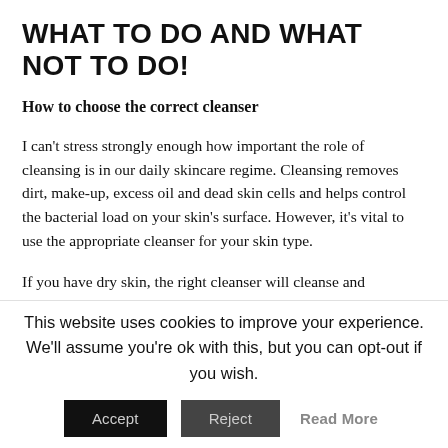WHAT TO DO AND WHAT NOT TO DO!
How to choose the correct cleanser
I can't stress strongly enough how important the role of cleansing is in our daily skincare regime. Cleansing removes dirt, make-up, excess oil and dead skin cells and helps control the bacterial load on your skin's surface. However, it's vital to use the appropriate cleanser for your skin type.
If you have dry skin, the right cleanser will cleanse and moisturise at the same time, while a well-formulated cleanser for oily skin will help reduce excess oil and pore-clogging impurities. Foaming formulas usually
This website uses cookies to improve your experience. We'll assume you're ok with this, but you can opt-out if you wish.
Accept   Reject   Read More